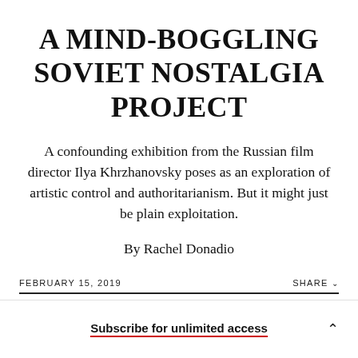A MIND-BOGGLING SOVIET NOSTALGIA PROJECT
A confounding exhibition from the Russian film director Ilya Khrzhanovsky poses as an exploration of artistic control and authoritarianism. But it might just be plain exploitation.
By Rachel Donadio
FEBRUARY 15, 2019    SHARE
Subscribe for unlimited access